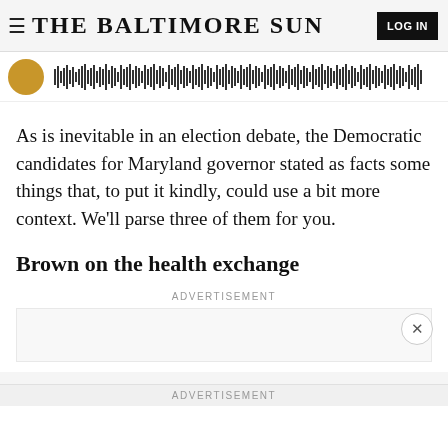THE BALTIMORE SUN
[Figure (other): Audio player with golden circle icon and waveform/audio progress bar]
As is inevitable in an election debate, the Democratic candidates for Maryland governor stated as facts some things that, to put it kindly, could use a bit more context. We'll parse three of them for you.
Brown on the health exchange
ADVERTISEMENT
ADVERTISEMENT